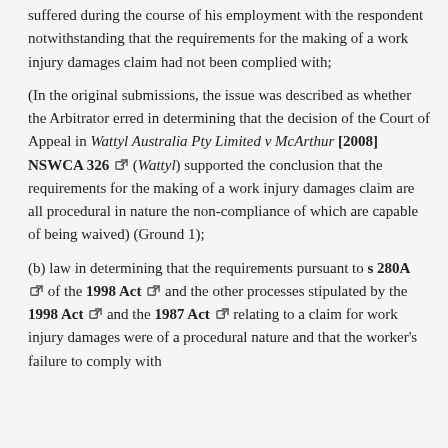suffered during the course of his employment with the respondent notwithstanding that the requirements for the making of a work injury damages claim had not been complied with;
(In the original submissions, the issue was described as whether the Arbitrator erred in determining that the decision of the Court of Appeal in Wattyl Australia Pty Limited v McArthur [2008] NSWCA 326 (Wattyl) supported the conclusion that the requirements for the making of a work injury damages claim are all procedural in nature the non-compliance of which are capable of being waived) (Ground 1);
(b) law in determining that the requirements pursuant to s 280A of the 1998 Act and the other processes stipulated by the 1998 Act and the 1987 Act relating to a claim for work injury damages were of a procedural nature and that the worker's failure to comply with